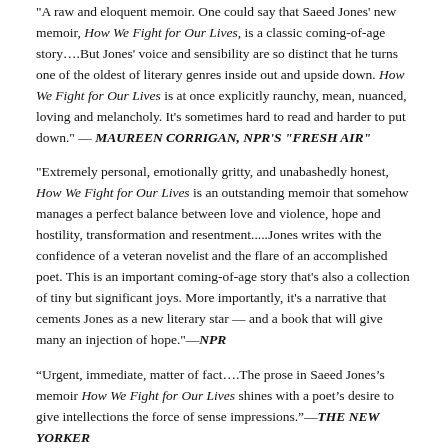"A raw and eloquent memoir. One could say that Saeed Jones' new memoir, How We Fight for Our Lives, is a classic coming-of-age story….But Jones' voice and sensibility are so distinct that he turns one of the oldest of literary genres inside out and upside down. How We Fight for Our Lives is at once explicitly raunchy, mean, nuanced, loving and melancholy. It's sometimes hard to read and harder to put down." — MAUREEN CORRIGAN, NPR'S "FRESH AIR"
"Extremely personal, emotionally gritty, and unabashedly honest, How We Fight for Our Lives is an outstanding memoir that somehow manages a perfect balance between love and violence, hope and hostility, transformation and resentment.....Jones writes with the confidence of a veteran novelist and the flare of an accomplished poet. This is an important coming-of-age story that's also a collection of tiny but significant joys. More importantly, it's a narrative that cements Jones as a new literary star — and a book that will give many an injection of hope."—NPR
“Urgent, immediate, matter of fact….The prose in Saeed Jones’s memoir How We Fight for Our Lives shines with a poet’s desire to give intellections the force of sense impressions.”—THE NEW YORKER
"Jones' explosive and poetic memoir traces his coming-of-age as a black, queer, and Southern man in vignettes that heartbreakingly and rigorously explore the beauty of love, the weight of trauma, and the power of